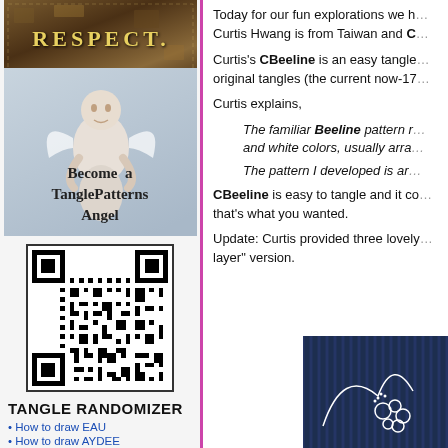[Figure (photo): RESPECT sign with distressed texture background]
[Figure (photo): Cherub angel figurine with text 'Become a TanglePatterns Angel']
[Figure (other): QR code]
TANGLE RANDOMIZER
How to draw EAU
How to draw AYDEE
Today for our fun explorations we have a special guest. Curtis Hwang is from Taiwan and C...
Curtis's CBeeline is an easy tangle and one of his original tangles (the current now-17...
Curtis explains,
The familiar Beeline pattern r... and white colors, usually arra...
The pattern I developed is ar...
CBeeline is easy to tangle and it co... that's what you wanted.
Update: Curtis provided three lovely... layer" version.
[Figure (photo): Drawing on dark blue fabric background showing CBeeline pattern]